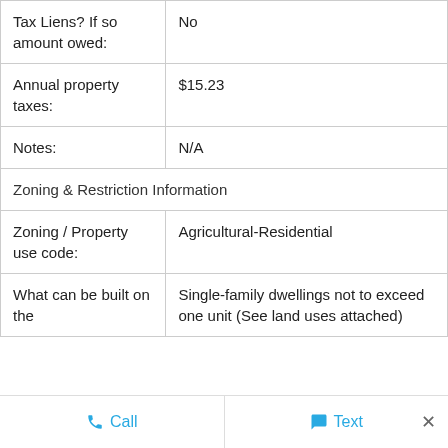| Field | Value |
| --- | --- |
| Tax Liens? If so amount owed: | No |
| Annual property taxes: | $15.23 |
| Notes: | N/A |
| Zoning & Restriction Information |  |
| Zoning / Property use code: | Agricultural-Residential |
| What can be built on the | Single-family dwellings not to exceed one unit (See land uses attached) |
Call   Text   ×